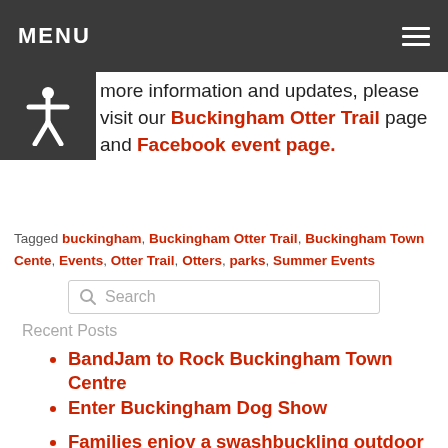MENU
[Figure (illustration): Accessibility icon — white human silhouette figure with arms outstretched on dark background]
more information and updates, please visit our Buckingham Otter Trail page and Facebook event page.
Tagged buckingham, Buckingham Otter Trail, Buckingham Town Cente, Events, Otter Trail, Otters, parks, Summer Events
Search
Recent Posts
BandJam to Rock Buckingham Town Centre
Enter Buckingham Dog Show
Families enjoy a swashbuckling outdoor performance of Peter Pan by IM Pan...